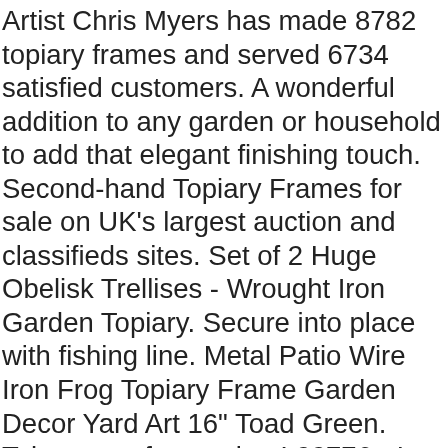Artist Chris Myers has made 8782 topiary frames and served 6734 satisfied customers. A wonderful addition to any garden or household to add that elegant finishing touch. Second-hand Topiary Frames for sale on UK's largest auction and classifieds sites. Set of 2 Huge Obelisk Trellises - Wrought Iron Garden Topiary. Secure into place with fishing line. Metal Patio Wire Iron Frog Topiary Frame Garden Decor Yard Art 16" Toad Green. Take care of your plant! 22776 - It comes in the varieties like moss covered and simple black topiary frame. Using the wire cutters, cut a piece of chicken wire to fit over the object, leaving . Add a mixture of equal parts soil-free growing medium and sphagnum moss. Our artisan sculptors use a combination of galvanised steel wire and coated mesh to create the Cat shape.Every frame is unique as they are made by hand, so expect subtle differences between the photo and the frame you receive. 3. Delightful lighted dog frames as well! 99. . Hand cutting the plants is the essence of traditional and modern topiary, and is what allows you to deem our topiary s